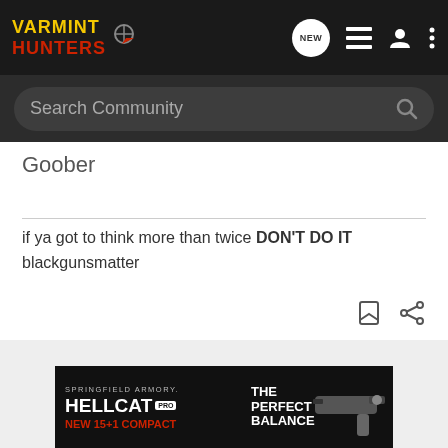VARMINT HUNTERS — navigation bar with NEW, list, user, and menu icons
Search Community
Goober
if ya got to think more than twice DON'T DO IT
blackgunsmatter
[Figure (screenshot): Springfield Armory HELLCAT PRO advertisement banner — THE PERFECT BALANCE, NEW 15+1 COMPACT, with handgun image]